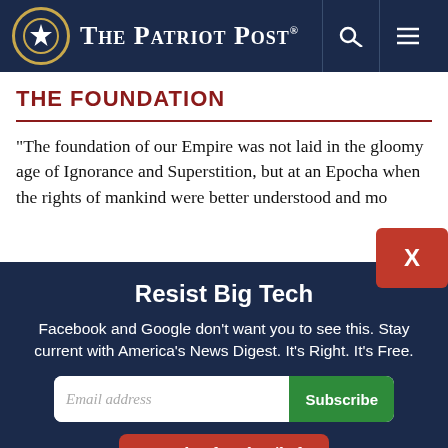The Patriot Post
THE FOUNDATION
“The foundation of our Empire was not laid in the gloomy age of Ignorance and Superstition, but at an Epocha when the rights of mankind were better understood and mo…
Resist Big Tech
Facebook and Google don't want you to see this. Stay current with America’s News Digest. It's Right. It's Free.
Email address | Subscribe
I'm Already Subscribed